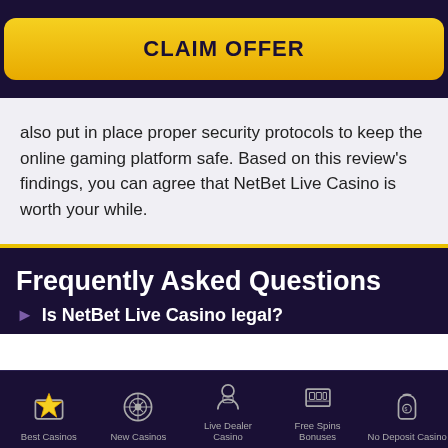[Figure (other): Yellow CLAIM OFFER button on dark navy background]
also put in place proper security protocols to keep the online gaming platform safe. Based on this review's findings, you can agree that NetBet Live Casino is worth your while.
Frequently Asked Questions
► Is NetBet Live Casino legal?
[Figure (other): Bottom navigation bar with icons: Best Casinos, New Casinos, Live Dealer Casino, Free Spins Bonuses, No Deposit Casino]